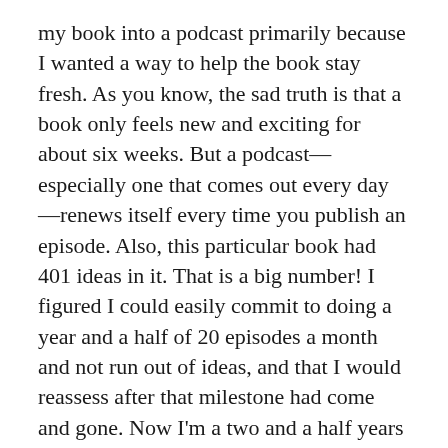my book into a podcast primarily because I wanted a way to help the book stay fresh. As you know, the sad truth is that a book only feels new and exciting for about six weeks. But a podcast—especially one that comes out every day—renews itself every time you publish an episode. Also, this particular book had 401 ideas in it. That is a big number! I figured I could easily commit to doing a year and a half of 20 episodes a month and not run out of ideas, and that I would reassess after that milestone had come and gone. Now I'm a two and a half years in, and I'm really hooked by the medium.
Lisa: Congratulations! That's a lot of episodes